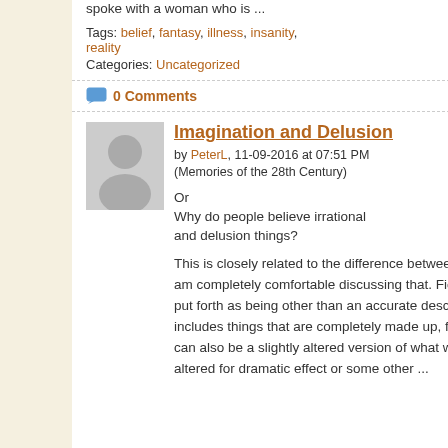spoke with a woman who is ...
Tags: belief, fantasy, illness, insanity, reality
Categories: Uncategorized
0 Comments   Read More →
[Figure (photo): Gray placeholder avatar image]
Imagination and Delusion
by PeterL, 11-09-2016 at 07:51 PM (Memories of the 28th Century)
Or
Why do people believe irrational and delusion things?
This is closely related to the difference between fiction and non-fiction, and I am completely comfortable discussing that. Fiction is that which we want to put forth as being other than an accurate description of the world. Fiction includes things that are completely made up, fantasy, dreams, etc. Fiction can also be a slightly altered version of what we see in the world that is altered for dramatic effect or some other ...
Recent
brighton
Insane4
Nikolail
Recent
[Figure (photo): Thumbnail images in sidebar]
Blog C
Global